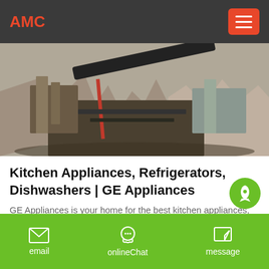AMC
[Figure (photo): Aerial view of an industrial/construction site with conveyor belts and machinery surrounded by rocks and terrain]
Kitchen Appliances, Refrigerators, Dishwashers | GE Appliances
GE Appliances is your home for the best kitchen appliances, home products, parts and accessories, and support.
email  onlineChat  message